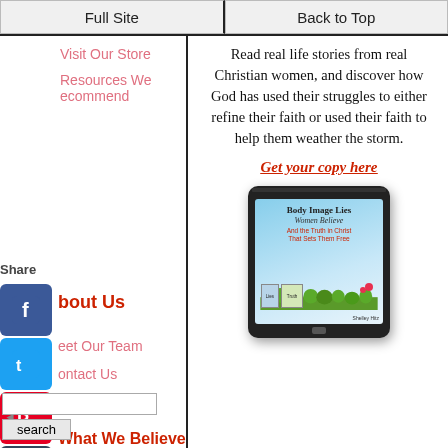Full Site | Back to Top
Visit Our Store
Resources We Recommend
Share
About Us
Meet Our Team
Contact Us
Ask Questions
What We Believe
Read real life stories from real Christian women, and discover how God has used their struggles to either refine their faith or used their faith to help them weather the storm.
Get your copy here
[Figure (photo): Tablet device showing book cover 'Body Image Lies Women Believe And the Truth in Christ That Sets Them Free' by Shelley Hitz]